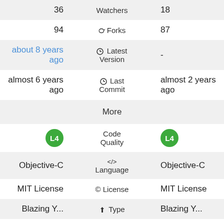| Left | Middle | Right |
| --- | --- | --- |
| 36 | Watchers | 18 |
| 94 | ⑂ Forks | 87 |
| about 8 years ago | ⊙ Latest Version | - |
| almost 6 years ago | ⊙ Last Commit | almost 2 years ago |
|  | More |  |
| L4 (badge) | Code Quality | L4 (badge) |
| Objective-C | </> Language | Objective-C |
| MIT License | © License | MIT License |
| Blazing Y... | ⑂ Type | Blazing Y... |